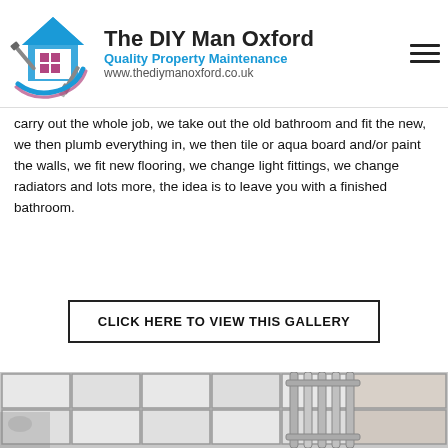The DIY Man Oxford | Quality Property Maintenance | www.thediymanoxford.co.uk
carry out the whole job, we take out the old bathroom and fit the new, we then plumb everything in, we then tile or aqua board and/or paint the walls, we fit new flooring, we change light fittings, we change radiators and lots more, the idea is to leave you with a finished bathroom.
CLICK HERE TO VIEW THIS GALLERY
[Figure (photo): Bathroom interior with white tiles and a chrome heated towel rail radiator, with a bath visible on the left side]